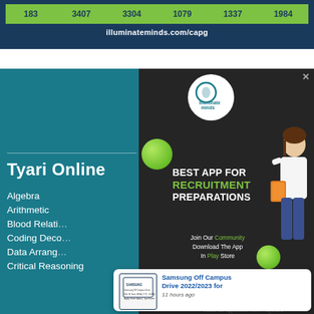| 183 | 3407 | 3304 | 1079 | 1337 | 1984 |
illuminateminds.com/capg
[Figure (screenshot): Illuminate Minds 'Best App for Recruitment Preparations' advertisement popup with green orbs, logo, and a woman holding books. Text: BEST APP FOR RECRUITMENT PREPARATIONS. Join Our Community Download The App In Play Store. Download Now button.]
Tyari Online
Algebra
Arithmetic
Blood Relati…
Coding Deco…
Data Arrang…
Critical Reasoning
[Figure (screenshot): Samsung Off Campus Drive 2022/2023 notification popup with thumbnail image. '11 hours ago'. Below: Install our application from PlayStore and get discounts on our new courses.]